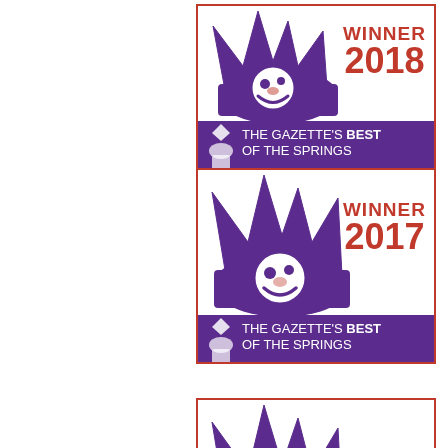[Figure (logo): The Gazette's Best of the Springs Winner 2018 badge with purple crown mascot and red border]
[Figure (logo): The Gazette's Best of the Springs Winner 2017 badge with purple crown mascot and red border]
[Figure (logo): The Gazette's Best of the Springs badge (year partially visible, cropped) with purple crown mascot and red border]